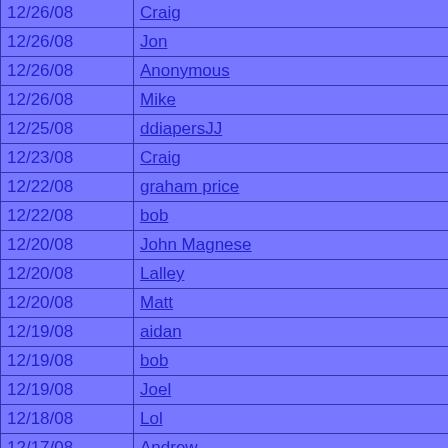| Date | Name |
| --- | --- |
| 12/26/08 | Craig |
| 12/26/08 | Jon |
| 12/26/08 | Anonymous |
| 12/26/08 | Mike |
| 12/25/08 | ddiapersJJ |
| 12/23/08 | Craig |
| 12/22/08 | graham price |
| 12/22/08 | bob |
| 12/20/08 | John Magnese |
| 12/20/08 | Lalley |
| 12/20/08 | Matt |
| 12/19/08 | aidan |
| 12/19/08 | bob |
| 12/19/08 | Joel |
| 12/18/08 | Lol |
| 12/17/08 | Andrew |
| 12/16/08 | wadsedthgfh |
| 12/16/08 | Henery |
| 12/16/08 | Jess |